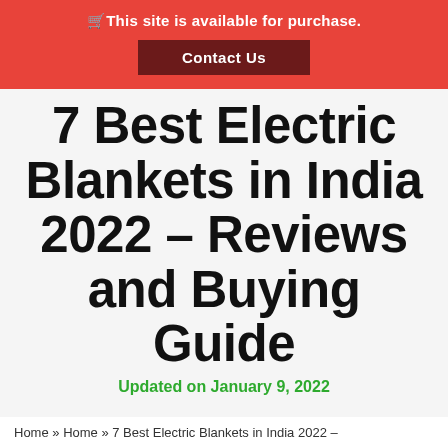🛒This site is available for purchase.
Contact Us
7 Best Electric Blankets in India 2022 – Reviews and Buying Guide
Updated on January 9, 2022
Home » Home » 7 Best Electric Blankets in India 2022 –